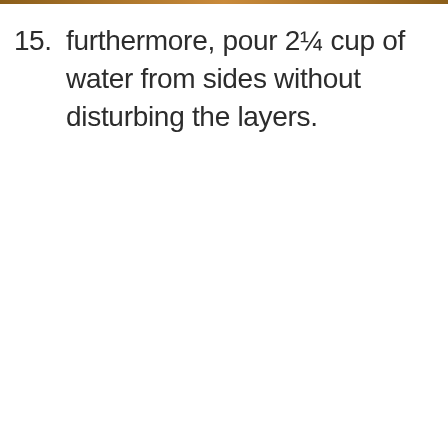15. furthermore, pour 2¼ cup of water from sides without disturbing the layers.